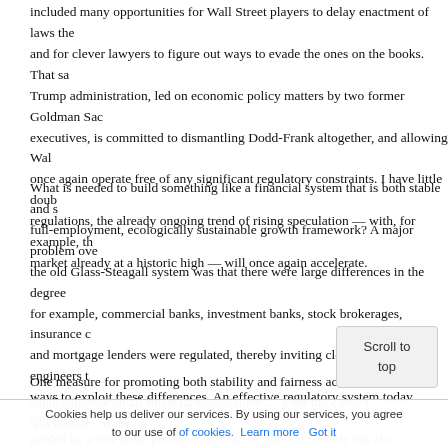included many opportunities for Wall Street players to delay enactment of laws they opposed, and for clever lawyers to figure out ways to evade the ones on the books. That said, the Trump administration, led on economic policy matters by two former Goldman Sachs executives, is committed to dismantling Dodd-Frank altogether, and allowing Wall Street to once again operate free of any significant regulatory constraints. I have little doubt that, without regulations, the already ongoing trend of rising speculation — with, for example, the stock market already at a historic high — will once again accelerate.
What is needed to build something like a financial system that is both stable and supports a full-employment, ecologically sustainable growth framework? A major problem over time with the old Glass-Steagall system was that there were large differences in the degree to which, for example, commercial banks, investment banks, stock brokerages, insurance companies, and mortgage lenders were regulated, thereby inviting clever financial engineers to devise ways to exploit these differences. An effective regulatory system today should therefore be guided by a few basic premises that can be applied flexibly but also universally. The basic regulations need to apply across the board, regardless of whether you call your business a bank, an insurance company, a hedge fund, a private equity fund, a vulture fund, or any other term that most of us haven't yet heard about.
One measure for promoting both stability and fairness across financial sectors is a small sales tax on all financial transactions — what has come to be known as a Robin Hood tax — which would discourage pure speculation. At the same time, this revenue source makes matters...
Cookies help us deliver our services. By using our services, you agree to our use of cookies. Learn more   Got it